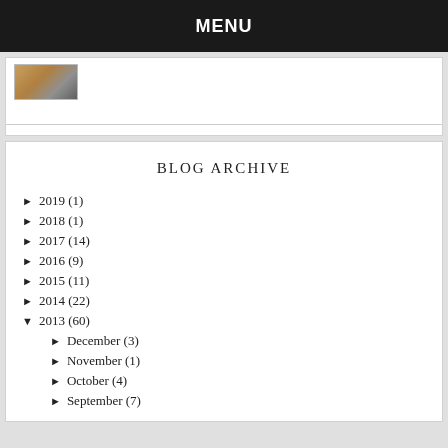MENU
[Figure (photo): Small thumbnail photo showing a wooden surface with objects]
BLOG ARCHIVE
► 2019 (1)
► 2018 (1)
► 2017 (14)
► 2016 (9)
► 2015 (11)
► 2014 (22)
▼ 2013 (60)
► December (3)
► November (1)
► October (4)
► September (7)